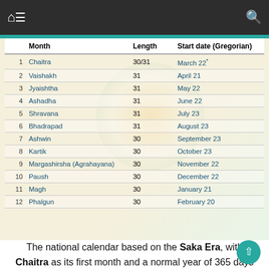Navigation bar with home, menu, and search icons
|  | Month | Length | Start date (Gregorian) |
| --- | --- | --- | --- |
| 1 | Chaitra | 30/31 | March 22* |
| 2 | Vaishakh | 31 | April 21 |
| 3 | Jyaishtha | 31 | May 22 |
| 4 | Ashadha | 31 | June 22 |
| 5 | Shravana | 31 | July 23 |
| 6 | Bhadrapad | 31 | August 23 |
| 7 | Ashwin | 30 | September 23 |
| 8 | Kartik | 30 | October 23 |
| 9 | Margashirsha (Agrahayana) | 30 | November 22 |
| 10 | Paush | 30 | December 22 |
| 11 | Magh | 30 | January 21 |
| 12 | Phalgun | 30 | February 20 |
The national calendar based on the Saka Era, with Chaitra as its first month and a normal year of 365 days was adopted from 22 March 1957 along with the Gregorian calendar for the following official purposes: